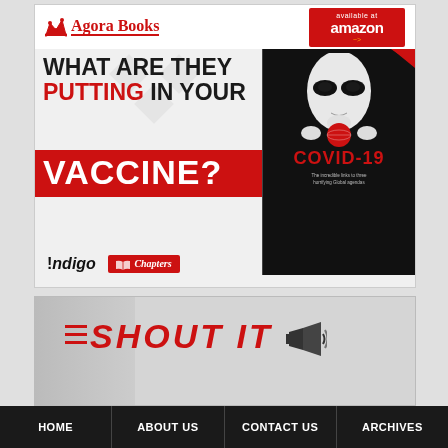[Figure (illustration): Agora Books advertisement for the book 'What Are They Putting In Your Vaccine? COVID-19' by Peter Tremblay. Available at Amazon, Indigo, and Chapters. Shows book cover with alien graphic holding a globe.]
[Figure (illustration): Shout It advertisement banner with megaphone graphic and red text on grey background.]
HOME   ABOUT US   CONTACT US   ARCHIVES